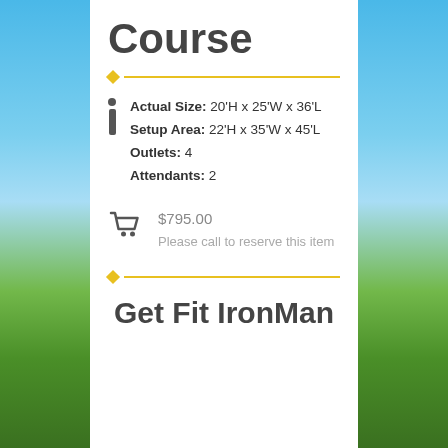Course
Actual Size: 20'H x 25'W x 36'L
Setup Area: 22'H x 35'W x 45'L
Outlets: 4
Attendants: 2
$795.00
Please call to reserve this item
Get Fit IronMan